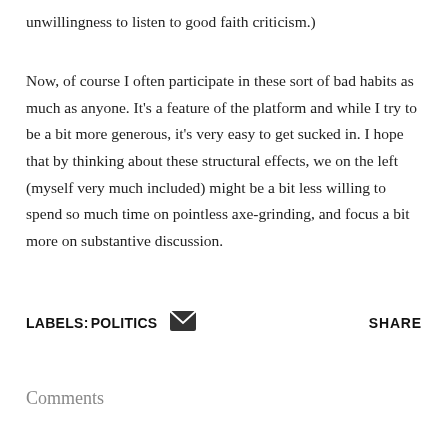unwillingness to listen to good faith criticism.)
Now, of course I often participate in these sort of bad habits as much as anyone. It's a feature of the platform and while I try to be a bit more generous, it's very easy to get sucked in. I hope that by thinking about these structural effects, we on the left (myself very much included) might be a bit less willing to spend so much time on pointless axe-grinding, and focus a bit more on substantive discussion.
LABELS: POLITICS  [email icon]  SHARE
Comments